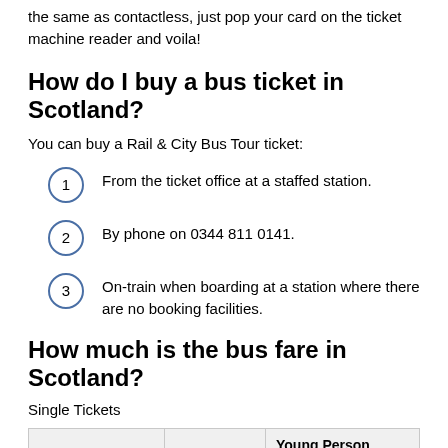the same as contactless, just pop your card on the ticket machine reader and voila!
How do I buy a bus ticket in Scotland?
You can buy a Rail & City Bus Tour ticket:
From the ticket office at a staffed station.
By phone on 0344 811 0141.
On-train when boarding at a station where there are no booking facilities.
How much is the bus fare in Scotland?
Single Tickets
|  | Adult | Young Person Concession with eligible Young Scot card |
| --- | --- | --- |
| travel in 1 |  |  |